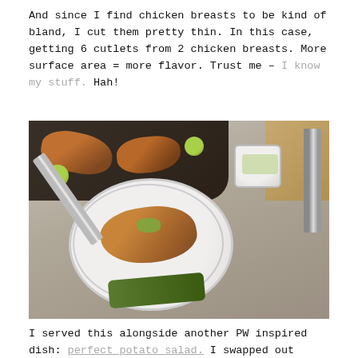And since I find chicken breasts to be kind of bland, I cut them pretty thin. In this case, getting 6 cutlets from 2 chicken breasts. More surface area = more flavor. Trust me – I know my stuff. Hah!
[Figure (photo): A plate of grilled chicken cutlets with green beans and a green sauce drizzled on top, held by a fork. In the background, a dark pan with more grilled chicken pieces and lime halves, a small white bowl of green sauce, a knife, and a wooden cutting board on a light surface.]
I served this alongside another PW inspired dish: perfect potato salad. I swapped out pickles for